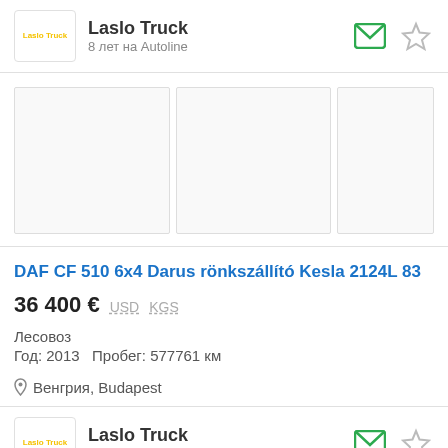Laslo Truck
8 лет на Autoline
[Figure (photo): Three photo placeholders for truck listing (blank/loading images)]
DAF CF 510 6x4 Darus rönkszállító Kesla 2124L 83
36 400 € USD KGS
Лесовоз
Год: 2013   Пробег: 577761 км
Венгрия, Budapest
Laslo Truck
8 лет на Autoline